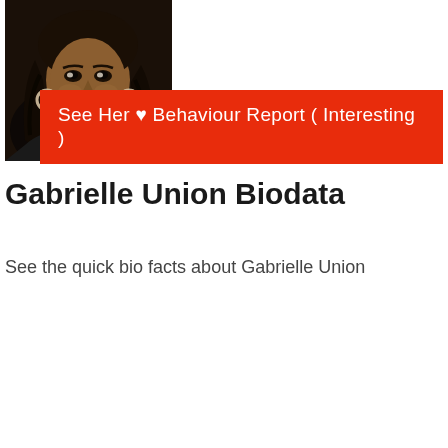[Figure (photo): Photo of Gabrielle Union smiling, wearing hoop earrings and a dark top, with long dark hair]
See Her ♥ Behaviour Report ( Interesting )
Gabrielle Union Biodata
See the quick bio facts about Gabrielle Union